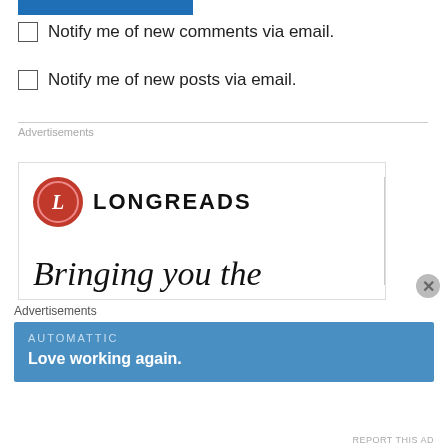[Figure (other): Blue submit/post button partially visible at top]
Notify me of new comments via email.
Notify me of new posts via email.
Advertisements
[Figure (logo): Longreads logo: red circle with italic L and LONGREADS text in bold caps]
Bringing you the
Advertisements
[Figure (other): Automattic advertisement banner: blue background, AUTOMATTIC in small caps, Love working again. in bold white]
REPORT THIS AD